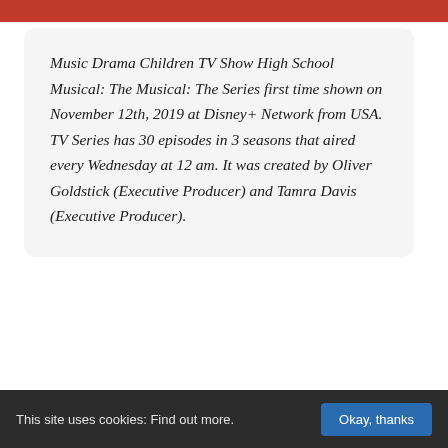[Figure (photo): Top strip showing partial photo of people, appears to be from the TV show High School Musical: The Musical: The Series, with red costumes visible.]
Music Drama Children TV Show High School Musical: The Musical: The Series first time shown on November 12th, 2019 at Disney+ Network from USA. TV Series has 30 episodes in 3 seasons that aired every Wednesday at 12 am. It was created by Oliver Goldstick (Executive Producer) and Tamra Davis (Executive Producer).
This site uses cookies: Find out more.   Okay, thanks